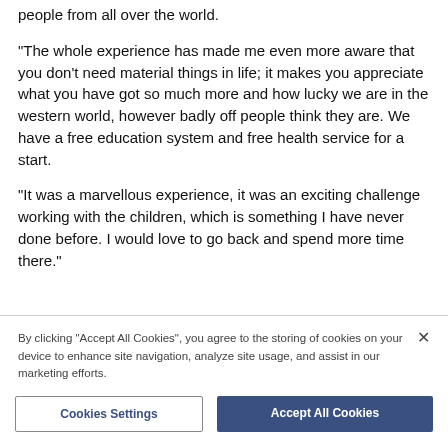people from all over the world.
“The whole experience has made me even more aware that you don’t need material things in life; it makes you appreciate what you have got so much more and how lucky we are in the western world, however badly off people think they are. We have a free education system and free health service for a start.
“It was a marvellous experience, it was an exciting challenge working with the children, which is something I have never done before. I would love to go back and spend more time there.”
By clicking “Accept All Cookies”, you agree to the storing of cookies on your device to enhance site navigation, analyze site usage, and assist in our marketing efforts.
Cookies Settings
Accept All Cookies